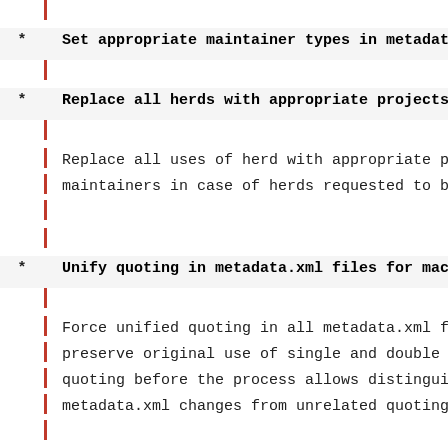| (vertical bar line)
* Set appropriate maintainer types in metadata
| (vertical bar line)
* Replace all herds with appropriate projects
| Replace all uses of herd with appropriate pro maintainers in case of herds requested to be
| (vertical bar lines)
* Unify quoting in metadata.xml files for mach:
| Force unified quoting in all metadata.xml fi: preserve original use of single and double qu quoting before the process allows distinguish metadata.xml changes from unrelated quoting c
| (vertical bar lines)
* app-eselect/eselect-php: add version 0.9.1 (r
| Package-Manager: portage-2.2.26
| (vertical bar line)